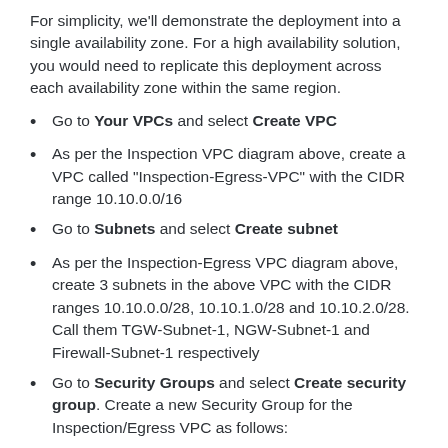For simplicity, we'll demonstrate the deployment into a single availability zone. For a high availability solution, you would need to replicate this deployment across each availability zone within the same region.
Go to Your VPCs and select Create VPC
As per the Inspection VPC diagram above, create a VPC called “Inspection-Egress-VPC” with the CIDR range 10.10.0.0/16
Go to Subnets and select Create subnet
As per the Inspection-Egress VPC diagram above, create 3 subnets in the above VPC with the CIDR ranges 10.10.0.0/28, 10.10.1.0/28 and 10.10.2.0/28. Call them TGW-Subnet-1, NGW-Subnet-1 and Firewall-Subnet-1 respectively
Go to Security Groups and select Create security group. Create a new Security Group for the Inspection/Egress VPC as follows: